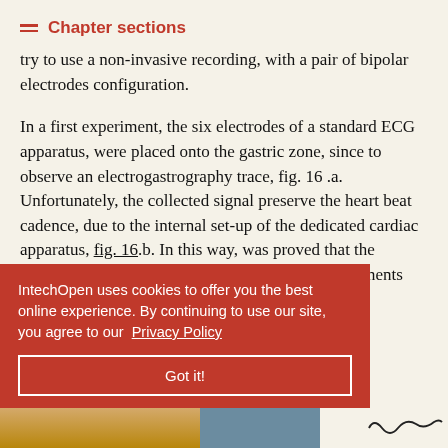Chapter sections
try to use a non-invasive recording, with a pair of bipolar electrodes configuration.
In a first experiment, the six electrodes of a standard ECG apparatus, were placed onto the gastric zone, since to observe an electrogastrography trace, fig. 16 .a. Unfortunately, the collected signal preserve the heart beat cadence, due to the internal set-up of the dedicated cardiac apparatus, fig. 16.b. In this way, was proved that the cardiac signal is strong enough [experiments
IntechOpen uses cookies to offer you the best online experience. By continuing to use our site, you agree to our Privacy Policy
Got it!